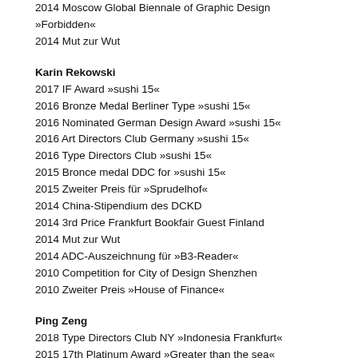2014 Moscow Global Biennale of Graphic Design »Forbidden«
2014 Mut zur Wut
Karin Rekowski
2017 IF Award »sushi 15«
2016 Bronze Medal Berliner Type »sushi 15«
2016 Nominated German Design Award »sushi 15«
2016 Art Directors Club Germany »sushi 15«
2016 Type Directors Club »sushi 15«
2015 Bronce medal DDC for »sushi 15«
2015 Zweiter Preis für »Sprudelhof«
2014 China-Stipendium des DCKD
2014 3rd Price Frankfurt Bookfair Guest Finland
2014 Mut zur Wut
2014 ADC-Auszeichnung für »B3-Reader«
2010 Competition for City of Design Shenzhen
2010 Zweiter Preis »House of Finance«
Ping Zeng
2018 Type Directors Club NY »Indonesia Frankfurt«
2015 17th Platinum Award »Greater than the sea«
2015 16th Platinum Award »Indonesia Frankfurt Book Fair«
2015 Spemann Price »Love song«